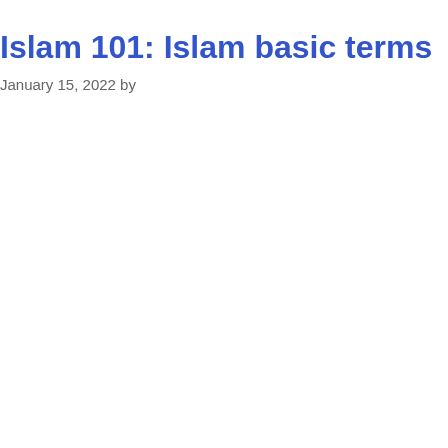Islam 101: Islam basic terms
January 15, 2022 by